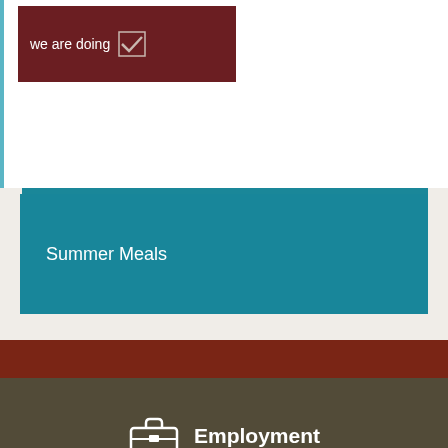[Figure (screenshot): Dark maroon banner with text 'we are doing' and a checkmark icon]
Summer Meals
Agendas & Minutes
Online Payments
Employment